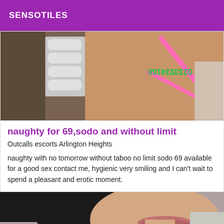SENSOTILES
[Figure (photo): Close-up photo of a person in a pink bikini bottom, partially reflected in a mirror with towels visible in background]
naughty for 69,sodo and without limit
Outcalls escorts Arlington Heights
naughty with no tomorrow without taboo no limit sodo 69 available for a good sex contact me, hygienic very smiling and I can't wait to spend a pleasant and erotic moment.
[Figure (photo): Close-up photo of a woman's face with dark hair, full lips, and bare shoulder against a light background]